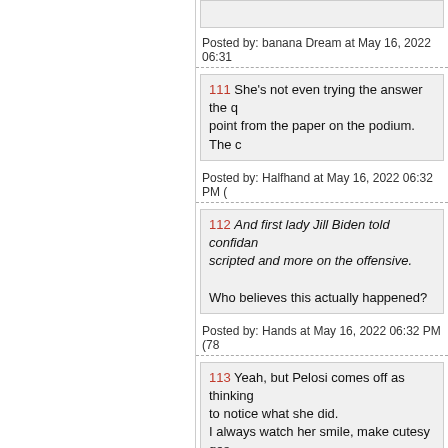Posted by: banana Dream at May 16, 2022 06:31
111 She's not even trying the answer the q... point from the paper on the podium. The c...
Posted by: Halfhand at May 16, 2022 06:32 PM (
112 And first lady Jill Biden told confidan... scripted and more on the offensive. Who believes this actually happened?
Posted by: Hands at May 16, 2022 06:32 PM (78
113 Yeah, but Pelosi comes off as thinking... to notice what she did. I always watch her smile, make cutesy ges... lord, does she really think anyone buys thi...
Posted by: Lizzy's phone at May 16, 2022 06:32